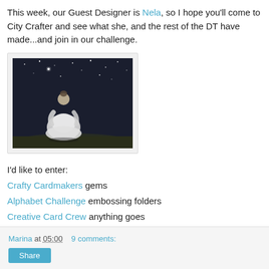This week, our Guest Designer is Nela, so I hope you'll come to City Crafter and see what she, and the rest of the DT have made...and join in our challenge.
[Figure (photo): Black and white photo of a young girl in a white dress standing in a field at night with stars in the background]
I'd like to enter:
Crafty Cardmakers gems
Alphabet Challenge embossing folders
Creative Card Crew anything goes
Marina at 05:00    9 comments:   Share